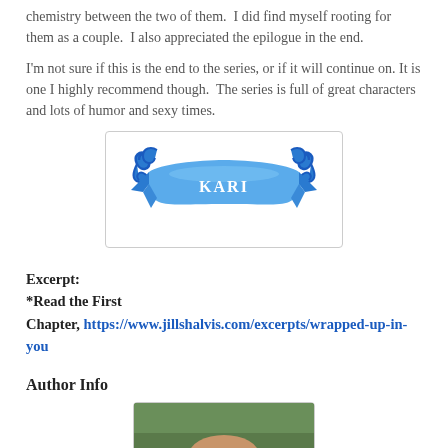chemistry between the two of them.  I did find myself rooting for them as a couple.  I also appreciated the epilogue in the end.
I'm not sure if this is the end to the series, or if it will continue on.  It is one I highly recommend though.  The series is full of great characters and lots of humor and sexy times.
[Figure (illustration): Blue decorative ribbon banner with scrollwork and the text KARI in white letters]
Excerpt:
*Read the First Chapter, https://www.jillshalvis.com/excerpts/wrapped-up-in-you
Author Info
[Figure (photo): Partial photo of a person outdoors with green foliage in background]